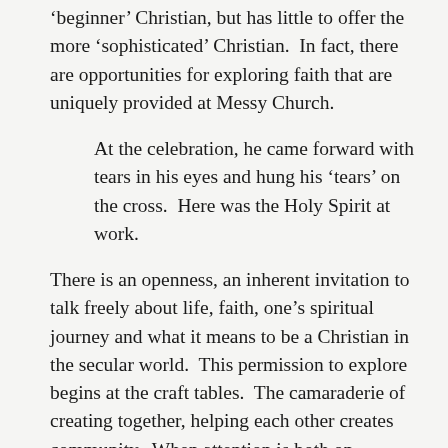'beginner' Christian, but has little to offer the more 'sophisticated' Christian.  In fact, there are opportunities for exploring faith that are uniquely provided at Messy Church.
At the celebration, he came forward with tears in his eyes and hung his 'tears' on the cross.  Here was the Holy Spirit at work.
There is an openness, an inherent invitation to talk freely about life, faith, one's spiritual journey and what it means to be a Christian in the secular world.  This permission to explore begins at the craft tables.  The camaraderie of creating together, helping each other creates community.  When attention is both on making and discussing, it is easier to explore ideas, without all eyes fixed on you.  There is a table leader who both helps with the craft and encourages conversation.  The craft itself